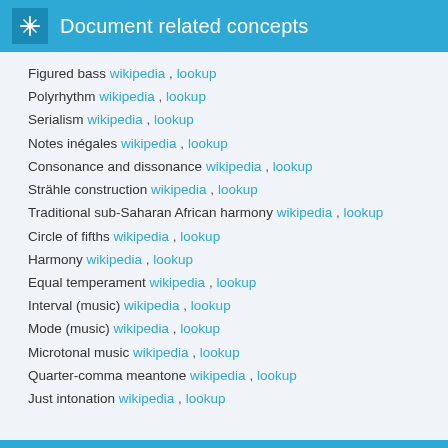Document related concepts
Figured bass wikipedia , lookup
Polyrhythm wikipedia , lookup
Serialism wikipedia , lookup
Notes inégales wikipedia , lookup
Consonance and dissonance wikipedia , lookup
Strähle construction wikipedia , lookup
Traditional sub-Saharan African harmony wikipedia , lookup
Circle of fifths wikipedia , lookup
Harmony wikipedia , lookup
Equal temperament wikipedia , lookup
Interval (music) wikipedia , lookup
Mode (music) wikipedia , lookup
Microtonal music wikipedia , lookup
Quarter-comma meantone wikipedia , lookup
Just intonation wikipedia , lookup